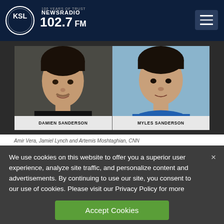[Figure (logo): KSL NewsRadio 102.7 FM logo — circular logo with '100 YEARS OF TRUST' text and KSL branding]
[Figure (photo): Mugshot photo of two suspects side by side. Left: DAMIEN SANDERSON wearing black shirt. Right: MYLES SANDERSON wearing blue shirt.]
Amir Vera, Jamiel Lynch and Artemis Moshtaghian, CNN
We use cookies on this website to offer you a superior user experience, analyze site traffic, and personalize content and advertisements. By continuing to use our site, you consent to our use of cookies. Please visit our Privacy Policy for more information.
Accept Cookies